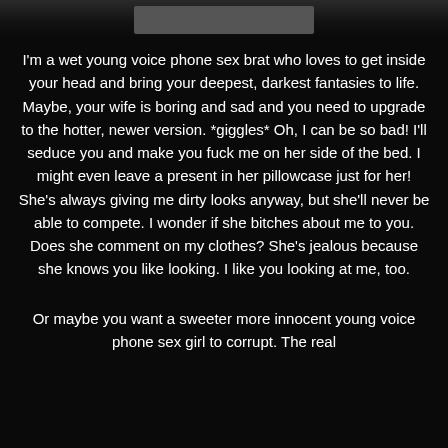[Figure (photo): Partial image at top of page, dark toned, mostly obscured]
I'm a wet young voice phone sex brat who loves to get inside your head and bring your deepest, darkest fantasies to life. Maybe, your wife is boring and sad and you need to upgrade to the hotter, newer version. *giggles* Oh, I can be so bad! I'll seduce you and make you fuck me on her side of the bed. I might even leave a present in her pillowcase just for her! She's always giving me dirty looks anyway, but she'll never be able to compete. I wonder if she bitches about me to you. Does she comment on my clothes? She's jealous because she knows you like looking. I like you looking at me, too.
Or maybe you want a sweeter more innocent young voice phone sex girl to corrupt. The real